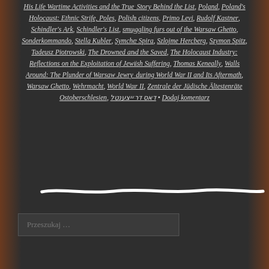His Life Wartime Activities and the True Story Behind the List, Poland, Poland's Holocaust: Ethnic Strife, Poles, Polish citizens, Primo Levi, Rudolf Kastner, Schindler's Ark, Schindler's List, smuggling furs out of the Warsaw Ghetto, Sonderkommando, Stella Kubler, Symche Spira, Szlojme Hercberg, Szymon Spitz, Tadeusz Piotrowski, The Drowned and the Saved, The Holocaust Industry: Reflections on the Exploitation of Jewish Suffering, Thomas Keneally, Walls Around: The Plunder of Warsaw Jewry during World War II and Its Aftermath, Warsaw Ghetto, Wehrmacht, World War II, Zentrale der Jüdische Ältestenräte Ostoberschlesien, דאס דרייצענטל • Dodaj komentarz
[Figure (illustration): A wavy horizontal white brush stroke / divider line]
Przeszukaj …